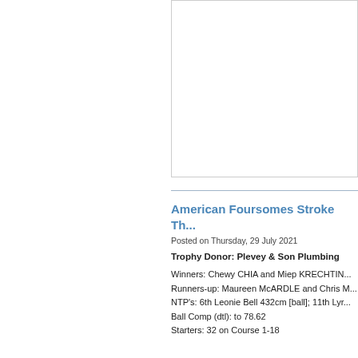[Figure (other): Partial image visible in upper right area, appears to be a photo or graphic with white/light content]
American Foursomes Stroke Th...
Posted on Thursday, 29 July 2021
Trophy Donor: Plevey & Son Plumbing
Winners: Chewy CHIA and Miep KRECHTIN...
Runners-up: Maureen McARDLE and Chris M...
NTP's: 6th Leonie Bell 432cm [ball]; 11th Lyr...
Ball Comp (dtl): to 78.62
Starters: 32 on Course 1-18